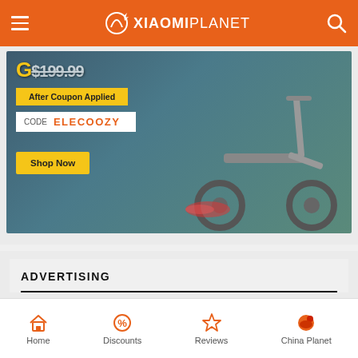XIAOMIPLANET
[Figure (photo): Electric scooter advertisement banner with coupon code ELECOOZY and Shop Now button on dark blue-grey background]
ADVERTISING
Home | Discounts | Reviews | China Planet